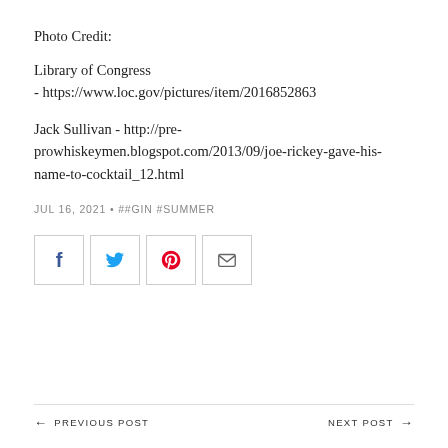Photo Credit:
Library of Congress - https://www.loc.gov/pictures/item/2016852863
Jack Sullivan - http://pre-prowhiskeymen.blogspot.com/2013/09/joe-rickey-gave-his-name-to-cocktail_12.html
JUL 16, 2021 • ##GIN #SUMMER
[Figure (other): Social sharing icons: Facebook, Twitter, Pinterest, Email]
← PREVIOUS POST    NEXT POST →